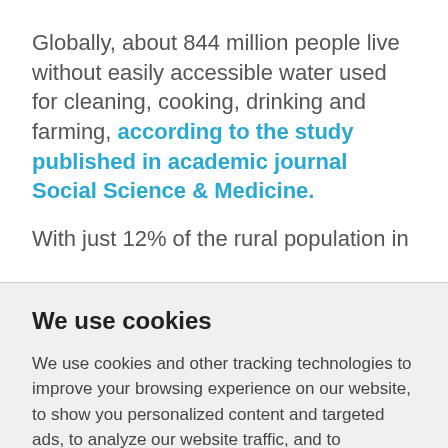Globally, about 844 million people live without easily accessible water used for cleaning, cooking, drinking and farming, according to the study published in academic journal Social Science & Medicine.
With just 12% of the rural population in
We use cookies
We use cookies and other tracking technologies to improve your browsing experience on our website, to show you personalized content and targeted ads, to analyze our website traffic, and to understand where our visitors are coming from.